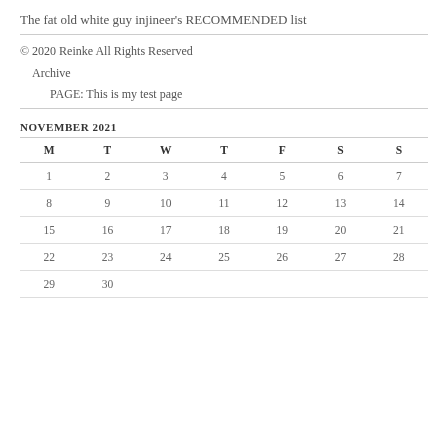The fat old white guy injineer's RECOMMENDED list
© 2020 Reinke All Rights Reserved
Archive
PAGE: This is my test page
NOVEMBER 2021
| M | T | W | T | F | S | S |
| --- | --- | --- | --- | --- | --- | --- |
| 1 | 2 | 3 | 4 | 5 | 6 | 7 |
| 8 | 9 | 10 | 11 | 12 | 13 | 14 |
| 15 | 16 | 17 | 18 | 19 | 20 | 21 |
| 22 | 23 | 24 | 25 | 26 | 27 | 28 |
| 29 | 30 |  |  |  |  |  |